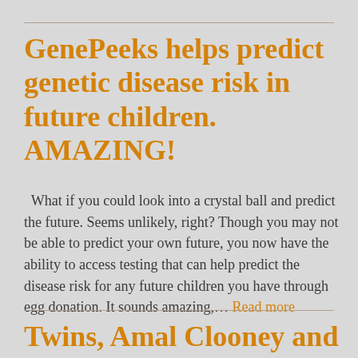GenePeeks helps predict genetic disease risk in future children. AMAZING!
What if you could look into a crystal ball and predict the future. Seems unlikely, right? Though you may not be able to predict your own future, you now have the ability to access testing that can help predict the disease risk for any future children you have through egg donation. It sounds amazing,… Read more
Twins, Amal Clooney and Beyonce!